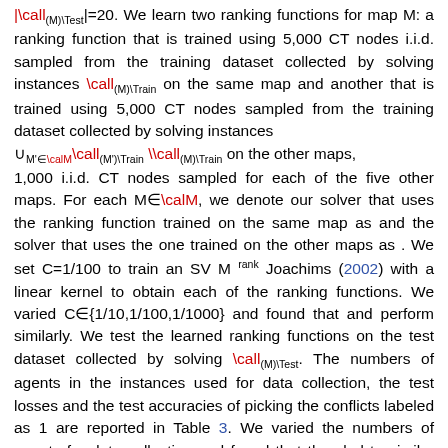|\call_{(M)\Test}|=20. We learn two ranking functions for map M: a ranking function that is trained using 5,000 CT nodes i.i.d. sampled from the training dataset collected by solving instances \call_{(M)\Train} on the same map and another that is trained using 5,000 CT nodes sampled from the training dataset collected by solving instances ∪_{M'∈\calM} \call_{(M')\Train} \ \call_{(M)\Train} on the other maps, 1,000 i.i.d. CT nodes sampled for each of the five other maps. For each M∈\calM, we denote our solver that uses the ranking function trained on the same map as and the solver that uses the one trained on the other maps as . We set C=1/100 to train an SVM^rank Joachims (2002) with a linear kernel to obtain each of the ranking functions. We varied C∈{1/10,1/100,1/1000} and found that and perform similarly. We test the learned ranking functions on the test dataset collected by solving \call_{(M)\Test}. The numbers of agents in the instances used for data collection, the test losses and the test accuracies of picking the conflicts labeled as 1 are reported in Table 3. We varied the numbers of agents for data collection and found that they led to similar performances. In general, the losses of the ranking functions for are larger and their